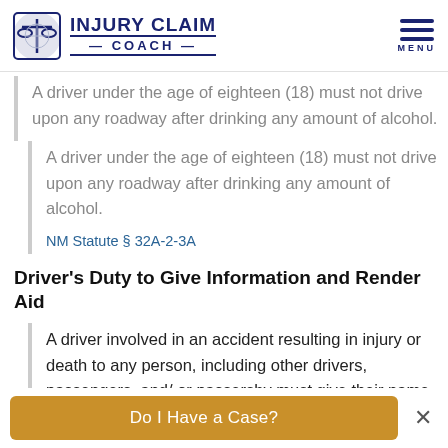INJURY CLAIM COACH
A driver under the age of eighteen (18) must not drive upon any roadway after drinking any amount of alcohol.
NM Statute § 32A-2-3A
Driver's Duty to Give Information and Render Aid
A driver involved in an accident resulting in injury or death to any person, including other drivers, passengers, and/ or passersby must give their name, address and the registration number of the car they are driving and must upon request, exhibit their driver's license information to any person injured in the
Do I Have a Case?